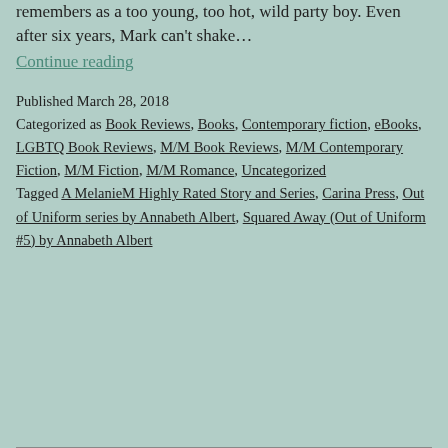remembers as a too young, too hot, wild party boy. Even after six years, Mark can't shake…
Continue reading
Published March 28, 2018
Categorized as Book Reviews, Books, Contemporary fiction, eBooks, LGBTQ Book Reviews, M/M Book Reviews, M/M Contemporary Fiction, M/M Fiction, M/M Romance, Uncategorized
Tagged A MelanieM Highly Rated Story and Series, Carina Press, Out of Uniform series by Annabeth Albert, Squared Away (Out of Uniform #5) by Annabeth Albert